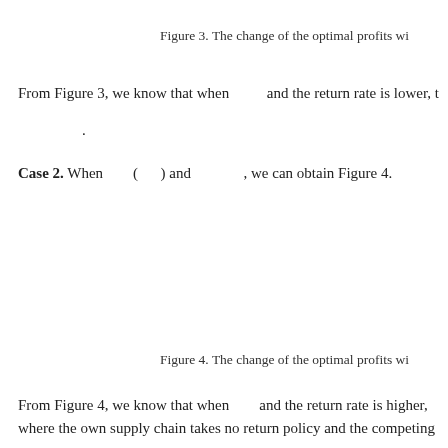Figure 3. The change of the optimal profits wi
From Figure 3, we know that when and the return rate is lower, t
.
Case 2. When ( ) and , we can obtain Figure 4.
Figure 4. The change of the optimal profits wi
From Figure 4, we know that when and the return rate is higher, where the own supply chain takes no return policy and the competing su